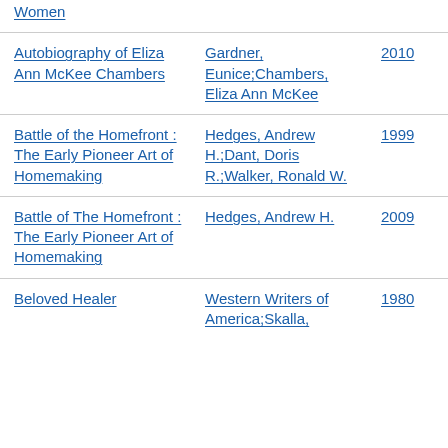| Title | Author | Year | Type |
| --- | --- | --- | --- |
| Women |  |  |  |
| Autobiography of Eliza Ann McKee Chambers | Gardner, Eunice;Chambers, Eliza Ann McKee | 2010 | Boo... |
| Battle of the Homefront : The Early Pioneer Art of Homemaking | Hedges, Andrew H.;Dant, Doris R.;Walker, Ronald W. | 1999 | Boo... Cha... |
| Battle of The Homefront : The Early Pioneer Art of Homemaking | Hedges, Andrew H. | 2009 | Jour... Arti... |
| Beloved Healer | Western Writers of America;Skalla, | 1980 | Boo... Cha... |